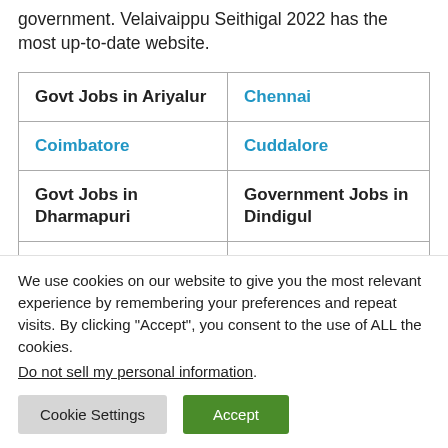government. Velaivaippu Seithigal 2022 has the most up-to-date website.
| Govt Jobs in Ariyalur | Chennai |
| Coimbatore | Cuddalore |
| Govt Jobs in Dharmapuri | Government Jobs in Dindigul |
| Govt Jobs in Erode | Government in Jobs in Kacheepuram |
We use cookies on our website to give you the most relevant experience by remembering your preferences and repeat visits. By clicking "Accept", you consent to the use of ALL the cookies. Do not sell my personal information.